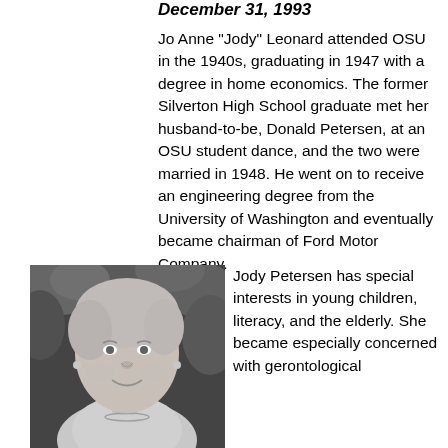December 31, 1993
Jo Anne "Jody" Leonard attended OSU in the 1940s, graduating in 1947 with a degree in home economics. The former Silverton High School graduate met her husband-to-be, Donald Petersen, at an OSU student dance, and the two were married in 1948. He went on to receive an engineering degree from the University of Washington and eventually became chairman of Ford Motor Company.
[Figure (photo): Black and white portrait photo of an elderly woman with light hair, smiling, wearing a necklace, with foliage in the background.]
Jody Petersen has special interests in young children, literacy, and the elderly. She became especially concerned with gerontological